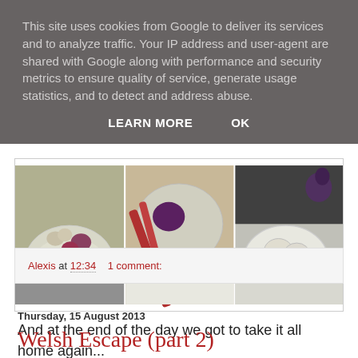This site uses cookies from Google to deliver its services and to analyze traffic. Your IP address and user-agent are shared with Google along with performance and security metrics to ensure quality of service, generate usage statistics, and to detect and address abuse.
LEARN MORE    OK
[Figure (photo): Three side-by-side panels showing plates of vegetables including garlic, onions, green beans, rhubarb, and garlic bulbs on a table]
And at the end of the day we got to take it all home again...
Alexis at 12:34    1 comment:
Thursday, 15 August 2013
Welsh Escape (part 2)